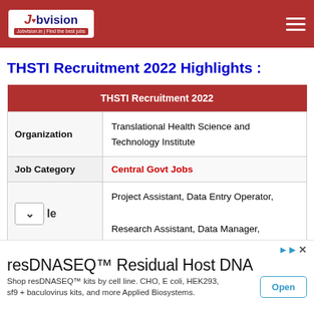Jobvision | Find the best jobs
THSTI Recruitment 2022 Highlights :
| THSTI Recruitment 2022 |
| --- |
| Organization | Translational Health Science and Technology Institute |
| Job Category | Central Govt Jobs |
|  | Project Assistant, Data Entry Operator, Research Assistant, Data Manager, |
resDNASEQ™ Residual Host DNA — Shop resDNASEQ™ kits by cell line. CHO, E coli, HEK293, sf9 + baculovirus kits, and more Applied Biosystems. Open